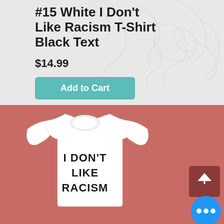#15 White I Don't Like Racism T-Shirt Black Text
$14.99
Add to Cart
[Figure (photo): White t-shirt with bold black text reading 'I DON'T LIKE RACISM' on a pink/salmon background, with a back-to-top arrow button and a blue more-options button overlay]